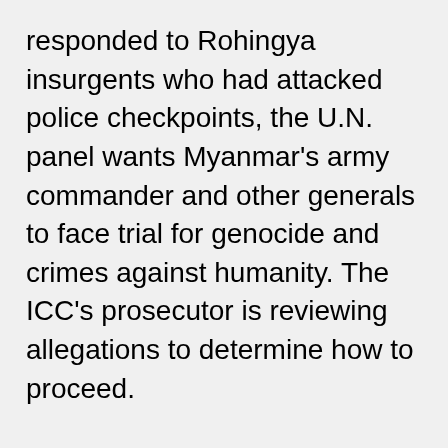responded to Rohingya insurgents who had attacked police checkpoints, the U.N. panel wants Myanmar's army commander and other generals to face trial for genocide and crimes against humanity. The ICC's prosecutor is reviewing allegations to determine how to proceed.
Patel feels strongly that those who committed acts of violence against the Rohingya must be held accountable and that reparations, including land and a safe return to Myanmar, must be made. She was a member of a team of doctors that, as part of a Physicians for Human Rights investigation, examined and interviewed Rohingya Muslims who had survived a massacre in the Myanmar village of Chut Pyin. A report based on the group's findings focuses on how the attacks unfolded, offering details consistent with reports of assaults on other Rohingya villages. The